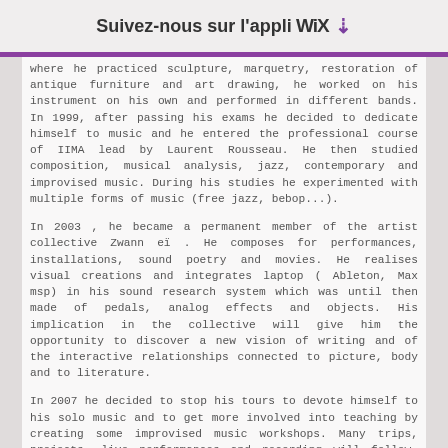Suivez-nous sur l'appli WiX ↓
where he practiced sculpture, marquetry, restoration of antique furniture and art drawing, he worked on his instrument on his own and performed in different bands. In 1999, after passing his exams he decided to dedicate himself to music and he entered the professional course of IIMA lead by Laurent Rousseau. He then studied composition, musical analysis, jazz, contemporary and improvised music. During his studies he experimented with multiple forms of music (free jazz, bebop...).
In 2003 , he became a permanent member of the artist collective Zwann eï . He composes for performances, installations, sound poetry and movies. He realises visual creations and integrates laptop ( Ableton, Max msp) in his sound research system which was until then made of pedals, analog effects and objects. His implication in the collective will give him the opportunity to discover a new vision of writing and of the interactive relationships connected to picture, body and to literature.
In 2007 he decided to stop his tours to devote himself to his solo music and to get more involved into teaching by creating some improvised music workshops. Many trips, projects, live performances and recording will follow. Work with Lois Laplace (Cycling 74), Federico Barabino (Buenos aires), Yumi Fujitani (danse butô, Paris), Les Conserveries mémorielles (Québec), Marc Roques (Zooloop, Paris).